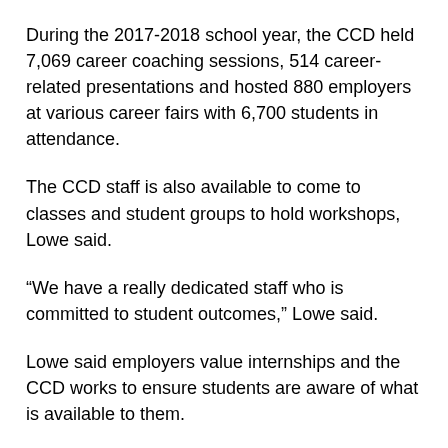During the 2017-2018 school year, the CCD held 7,069 career coaching sessions, 514 career-related presentations and hosted 880 employers at various career fairs with 6,700 students in attendance.
The CCD staff is also available to come to classes and student groups to hold workshops, Lowe said.
“We have a really dedicated staff who is committed to student outcomes,” Lowe said.
Lowe said employers value internships and the CCD works to ensure students are aware of what is available to them.
“The CCD posts all internships and jobs specific to UConn students, and students can set up alerts for postings,” Lowe